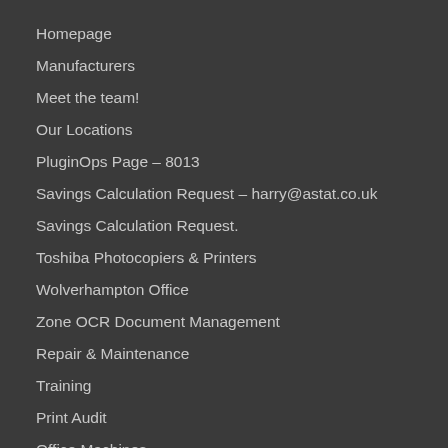Homepage
Manufacturers
Meet the team!
Our Locations
PluginOps Page – 8013
Savings Calculation Request – harry@astat.co.uk
Savings Calculation Request.
Toshiba Photocopiers & Printers
Wolverhampton Office
Zone OCR Document Management
Repair & Maintenance
Training
Print Audit
Office Machines
Quotation Request – Get A Free Photocopier Quote
Services & Solutions